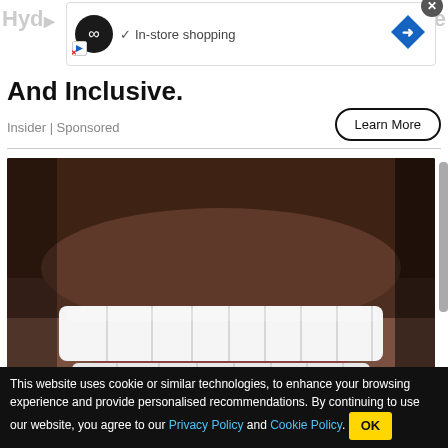[Figure (screenshot): Ad banner with infinity logo, In-store shopping text, navigation arrow icon, and close X button]
And Inclusive.
Insider | Sponsored
Learn More
[Figure (photo): Close-up photo of a man's smile showing white dental veneers/implants with stubble visible]
One Day Full Mouth Dental
Get Updates
This website uses cookie or similar technologies, to enhance your browsing experience and provide personalised recommendations. By continuing to use our website, you agree to our Privacy Policy and Cookie Policy.